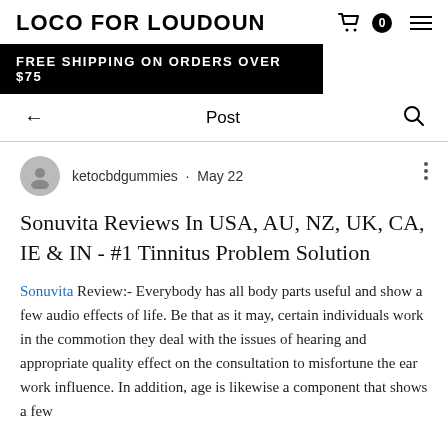LOCO FOR LOUDOUN
FREE SHIPPING ON ORDERS OVER $75
Post
ketocbdgummies · May 22
Sonuvita Reviews In USA, AU, NZ, UK, CA, IE & IN - #1 Tinnitus Problem Solution
Sonuvita Review:- Everybody has all body parts useful and show a few audio effects of life. Be that as it may, certain individuals work in the commotion they deal with the issues of hearing and appropriate quality effect on the consultation to misfortune the ear work influence. In addition, age is likewise a component that shows a few